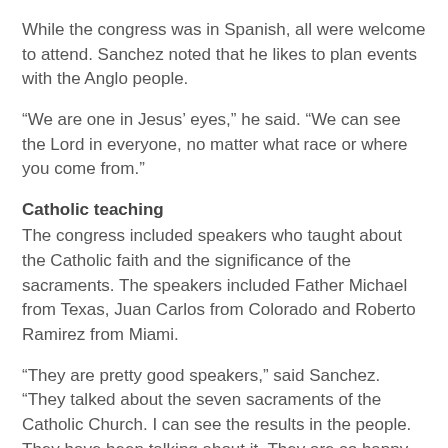While the congress was in Spanish, all were welcome to attend. Sanchez noted that he likes to plan events with the Anglo people.
“We are one in Jesus’ eyes,” he said. “We can see the Lord in everyone, no matter what race or where you come from.”
Catholic teaching
The congress included speakers who taught about the Catholic faith and the significance of the sacraments. The speakers included Father Michael from Texas, Juan Carlos from Colorado and Roberto Ramirez from Miami.
“They are pretty good speakers,” said Sanchez. “They talked about the seven sacraments of the Catholic Church. I can see the results in the people. They have been talking about it. They are so happy we are doing this.”
During the weekend, there were songs of praise and the opportunity for reconciliation and Eucharistic adoration, as well as Sunday Mass.